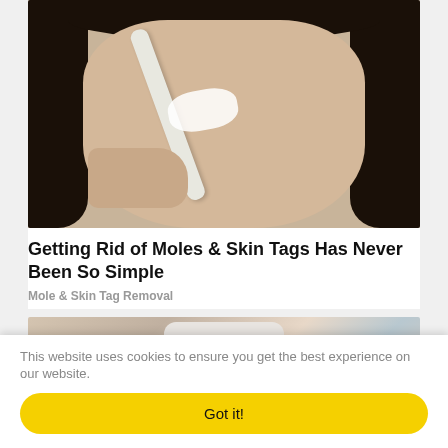[Figure (photo): A woman with dark hair applying a nose strip or skincare tool to her nose, holding what appears to be a white applicator or brush.]
Getting Rid of Moles & Skin Tags Has Never Been So Simple
Mole & Skin Tag Removal
[Figure (photo): A hand holding a white bottle or container, partially visible at the bottom of the card.]
This website uses cookies to ensure you get the best experience on our website.
Got it!